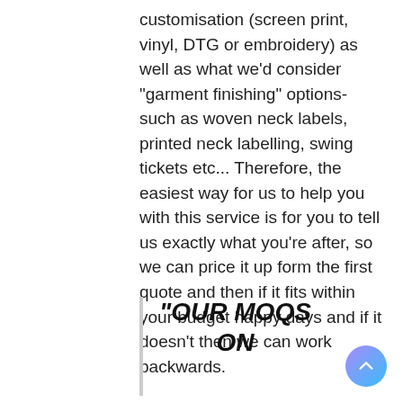customisation (screen print, vinyl, DTG or embroidery) as well as what we'd consider "garment finishing" options- such as woven neck labels, printed neck labelling, swing tickets etc... Therefore, the easiest way for us to help you with this service is for you to tell us exactly what you're after, so we can price it up form the first quote and then if it fits within your budget happy days and if it doesn't then we can work backwards.
“OUR MOQS ON